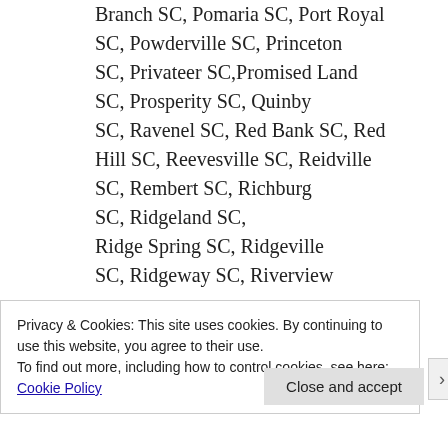Branch SC, Pomaria SC, Port Royal SC, Powderville SC, Princeton SC, Privateer SC, Promised Land SC, Prosperity SC, Quinby SC, Ravenel SC, Red Bank SC, Red Hill SC, Reevesville SC, Reidville SC, Rembert SC, Richburg SC, Ridgeland SC, Ridge Spring SC, Ridgeville SC, Ridgeway SC, Riverview
Privacy & Cookies: This site uses cookies. By continuing to use this website, you agree to their use. To find out more, including how to control cookies, see here: Cookie Policy
Close and accept